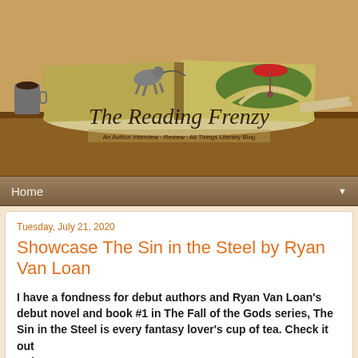[Figure (illustration): The Reading Frenzy blog banner showing an open book with a dog figurine, a red umbrella figurine, a path on green grass, coffee mug, and fountain pen on a wooden desk background.]
The Reading Frenzy
An Author Interview · Review · All Things Literary Blog
Home
Tuesday, July 21, 2020
Showcase The Sin in the Steel by Ryan Van Loan
I have a fondness for debut authors and Ryan Van Loan's debut novel and book #1 in The Fall of the Gods series, The Sin in the Steel is every fantasy lover's cup of tea. Check it out
Enjoy!